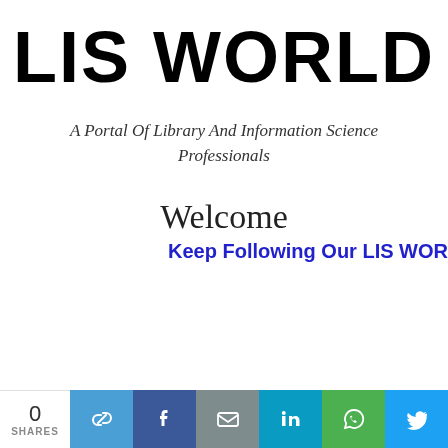LIS WORLD
A Portal Of Library And Information Science Professionals
Welcome
Keep Following Our LIS WOR…
0 SHARES | social share buttons: link, facebook, email, linkedin, whatsapp, twitter